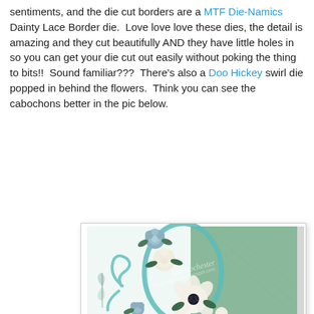sentiments, and the die cut borders are a MTF Die-Namics Dainty Lace Border die.  Love love love these dies, the detail is amazing and they cut beautifully AND they have little holes in so you can get your die cut out easily without poking the thing to bits!!  Sound familiar???  There's also a Doo Hickey swirl die popped in behind the flowers.  Think you can see the cabochons better in the pic below.
[Figure (photo): A handmade greeting card with a teal/blue color scheme featuring paper flowers (roses and an anemone), leafy greenery, a die-cut oval swirl element, and a textured green background panel. Watermark text reads 'Bev Rochester' and 'http://bevcrafts.blogspot.com'.]